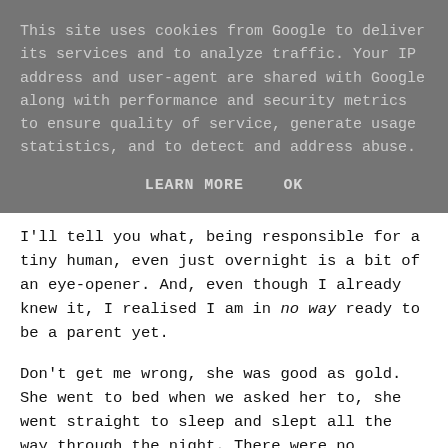This site uses cookies from Google to deliver its services and to analyze traffic. Your IP address and user-agent are shared with Google along with performance and security metrics to ensure quality of service, generate usage statistics, and to detect and address abuse.
LEARN MORE    OK
I'll tell you what, being responsible for a tiny human, even just overnight is a bit of an eye-opener. And, even though I already knew it, I realised I am in no way ready to be a parent yet.
Don't get me wrong, she was good as gold. She went to bed when we asked her to, she went straight to sleep and slept all the way through the night. There were no strops, no temper tantrums and I came out of the whole experience with my sanity still in tact. Winner, right?
But oh my goodness, was it chaotic.